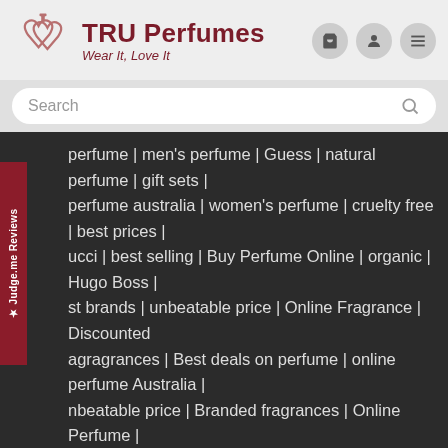[Figure (logo): TRU Perfumes logo with two heart shapes and a perfume bottle icon in rose/mauve color]
TRU Perfumes
Wear It, Love It
[Figure (screenshot): Search bar with placeholder text 'Search' and magnifier icon on gray background]
perfume | men's perfume | Guess | natural perfume | gift sets | perfume australia | women's perfume | cruelty free | best prices | ucci | best selling | Buy Perfume Online | organic | Hugo Boss | st brands | unbeatable price | Online Fragrance | Discounted agrances | Best deals on perfume | online perfume Australia | nbeatable price | Branded fragrances | Online Perfume | scount | Perfume Afterpay | Perfume Zip Pay
[Figure (logo): Judge.me Reviews vertical side tab in dark red]
[Figure (logo): Get it on Google Play button (black rounded rectangle)]
[Figure (logo): Download on the App Store button (black rounded rectangle)]
After Pay
Zip Pay
[Figure (logo): Afterpay logo - arrow/boomerang shape in teal/cyan]
[Figure (logo): Zip logo on light gray background with purple square in 'i']
[Figure (other): White chat bubble circle]
Lay Buy
Shop Humm